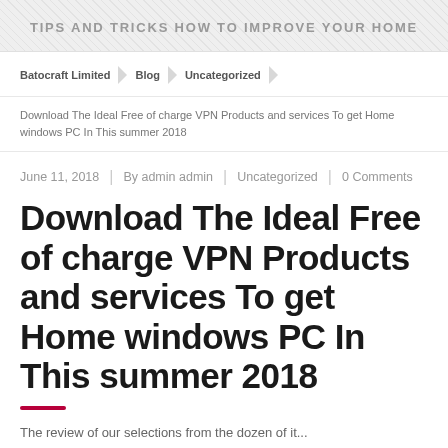TIPS AND TRICKS HOW TO IMPROVE YOUR HOME
Batocraft Limited  Blog  Uncategorized
Download The Ideal Free of charge VPN Products and services To get Home windows PC In This summer 2018
June 11, 2018  |  By admin admin  |  Uncategorized  |  0 Comments
Download The Ideal Free of charge VPN Products and services To get Home windows PC In This summer 2018
The review of our selections from the dozen of it...